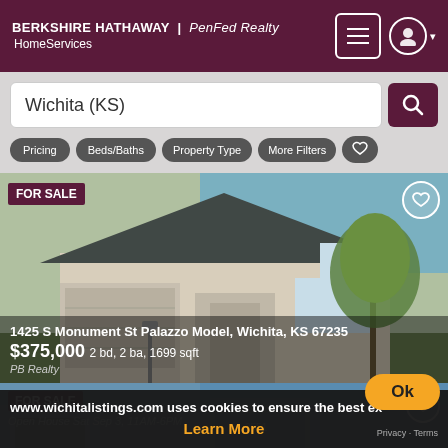BERKSHIRE HATHAWAY | PenFed Realty HomeServices
Wichita (KS)
Pricing
Beds/Baths
Property Type
More Filters
[Figure (photo): FOR SALE: House exterior photo - 1425 S Monument St Palazzo Model, Wichita, KS 67235]
1425 S Monument St Palazzo Model, Wichita, KS 67235
$375,000 2 bd, 2 ba, 1699 sqft
PB Realty
[Figure (photo): FOR SALE: House exterior photo - Open House Sat Sep 3, 11AM-6PM]
Open House Sat Sep 3, 11AM-6PM
www.wichitalistings.com uses cookies to ensure the best ex
Learn More
Ok
Privacy · Terms